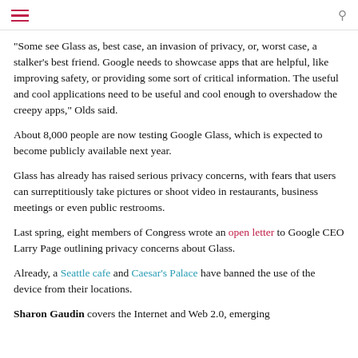"Some see Glass as, best case, an invasion of privacy, or, worst case, a stalker's best friend. Google needs to showcase apps that are helpful, like improving safety, or providing some sort of critical information. The useful and cool applications need to be useful and cool enough to overshadow the creepy apps," Olds said.
About 8,000 people are now testing Google Glass, which is expected to become publicly available next year.
Glass has already has raised serious privacy concerns, with fears that users can surreptitiously take pictures or shoot video in restaurants, business meetings or even public restrooms.
Last spring, eight members of Congress wrote an open letter to Google CEO Larry Page outlining privacy concerns about Glass.
Already, a Seattle cafe and Caesar's Palace have banned the use of the device from their locations.
Sharon Gaudin covers the Internet and Web 2.0, emerging